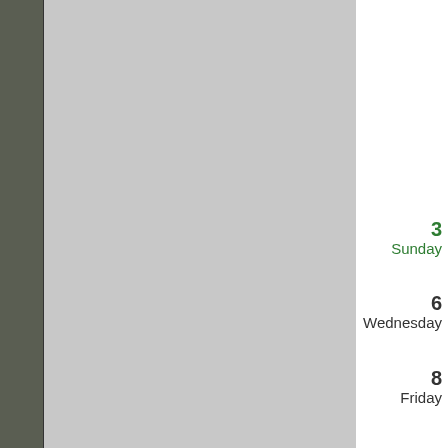[Figure (other): Calendar page layout with dark olive left sidebar, light gray main content area, and white right panel showing calendar dates: 3 Sunday, 6 Wednesday, 8 Friday]
3
Sunday
6
Wednesday
8
Friday